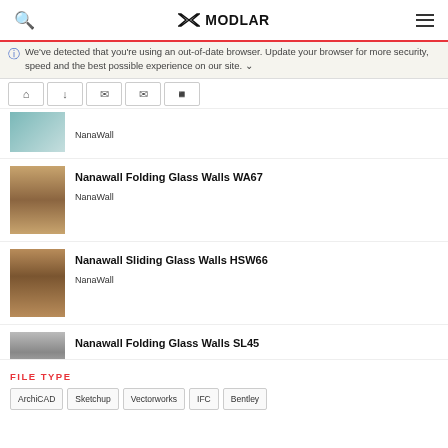MODLAR
We've detected that you're using an out-of-date browser. Update your browser for more security, speed and the best possible experience on our site.
NanaWall
Nanawall Folding Glass Walls WA67
NanaWall
Nanawall Sliding Glass Walls HSW66
NanaWall
Nanawall Folding Glass Walls SL45
NanaWall
FILE TYPE
ArchiCAD
Sketchup
Vectorworks
IFC
Bentley